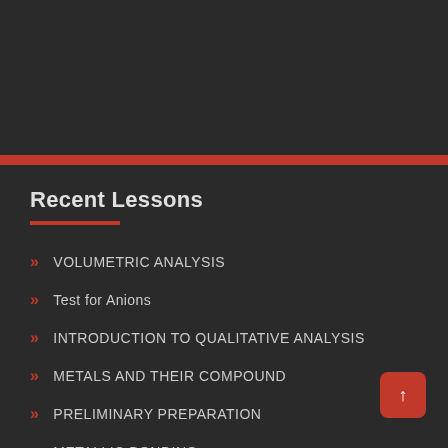Recent Lessons
VOLUMETRIC ANALYSIS
Test for Anions
INTRODUCTION TO QUALITATIVE ANALYSIS
METALS AND THEIR COMPOUND
PRELIMINARY PREPARATION
METALLIC BONDING